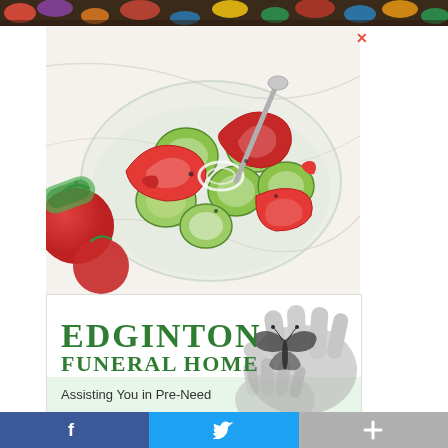[Figure (photo): Top strip showing colorful flowers — red, purple, blue, yellow — on a dark background]
[Figure (photo): Advertisement photo of a glass bowl filled with cucumber and tomato salad with onions, next to fresh tomatoes on a white marble surface]
[Figure (other): Close X button in red to dismiss the salad ad]
[Figure (logo): Edginton Funeral Home advertisement with green serif logo text, butterfly illustration, and hands graphic in grayscale. Text reads: Edginton Funeral Home. Assisting You in Pre-Need]
Assisting You in Pre-Need
[Figure (other): Social sharing bar at bottom with Facebook (blue, f icon), Twitter (blue, bird icon), and a grey plus button]